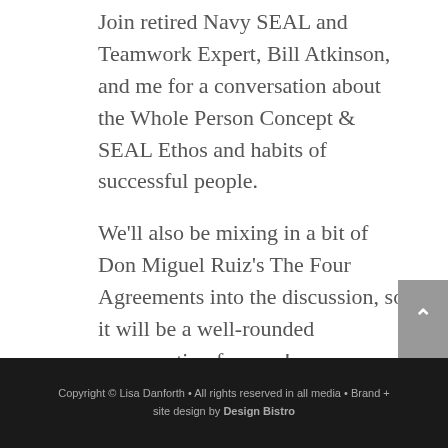Join retired Navy SEAL and Teamwork Expert, Bill Atkinson, and me for a conversation about the Whole Person Concept & SEAL Ethos and habits of successful people.
We'll also be mixing in a bit of Don Miguel Ruiz's The Four Agreements into the discussion, so it will be a well-rounded conversation for sure!
Copyright © Lisa Danforth • All rights reserved in all media • Brand + site design by Design Bistro